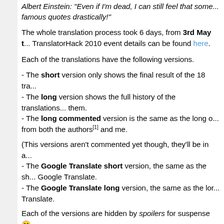Albert Einstein: "Even if I'm dead, I can still feel that some... famous quotes drastically!"
The whole translation process took 6 days, from 3rd May t... TranslatorHack 2010 event details can be found here.
Each of the translations have the following versions.
- The short version only shows the final result of the 18 tra...
- The long version shows the full history of the translations... them.
- The long commented version is the same as the long o... from both the authors[1] and me.
(This versions aren't commented yet though, they'll be in a...
- The Google Translate short version, the same as the sh... Google Translate.
- The Google Translate long version, the same as the lor... Translate.
Each of the versions are hidden by spoilers for suspense 😊
Language order:
Dario ff    (Spanish)  -->  Crazy Ph...
Evert       (Dutch)    -->  weapon_S...
Johan Halmén (Finnish) -->  jhuuskon...
GullRaDriel  (French)  -->  Goalic...